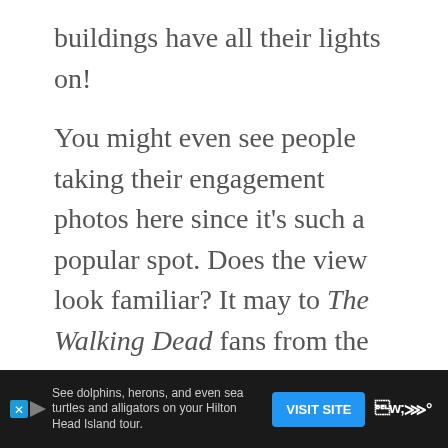buildings have all their lights on!
You might even see people taking their engagement photos here since it's such a popular spot. Does the view look familiar? It may to The Walking Dead fans from the first season! Check out this The Walking Dead tour!
Despite being a bridge that people can drive over, it's very small. There also is barely any traffic. You can safely get the best pictures of downtown from here, so don't miss it!
See dolphins, herons, and even sea turtles and alligators on your Hilton Head Island tour.
VISIT SITE